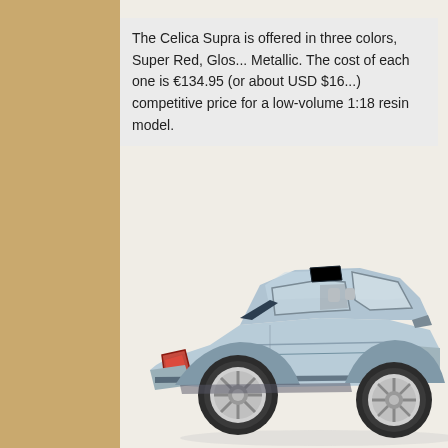The Celica Supra is offered in three colors, Super Red, Glos... Metallic. The cost of each one is €134.95 (or about USD $16...) competitive price for a low-volume 1:18 resin model.
[Figure (photo): Side profile photo of a light blue/silver Toyota Celica Supra 1:18 scale resin model car on a light beige/cream background. The car faces left, showing the passenger side with visible wheels, rear spoiler, and interior.]